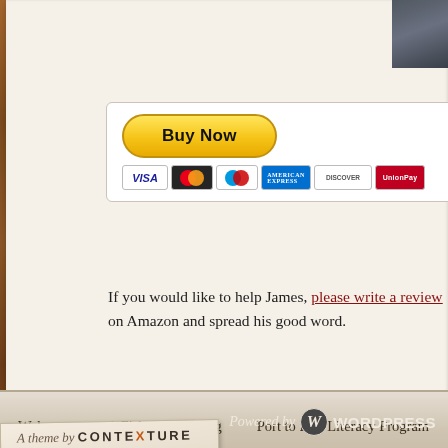[Figure (photo): Dark photo/image at top of page, partially visible]
[Figure (other): PayPal 'Buy Now' button with credit card icons: Visa, Mastercard, Maestro, American Express, Discover, UnionPay]
If you would like to help James, please write a review on Amazon and spread his good word.
Welcome   A Fisherman's Blog   Port to Port Literacy Program
[Figure (logo): A theme by CONTEXTURE badge/label]
[Figure (logo): Powered by WordPress badge]